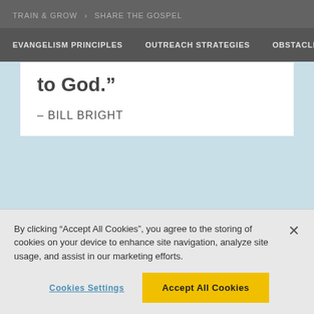TRAIN & GROW > SHARE THE GOSPEL
EVANGELISM PRINCIPLES   OUTREACH STRATEGIES   OBSTACLE:
to God.”
– BILL BRIGHT
By clicking “Accept All Cookies”, you agree to the storing of cookies on your device to enhance site navigation, analyze site usage, and assist in our marketing efforts.
Cookies Settings
Accept All Cookies